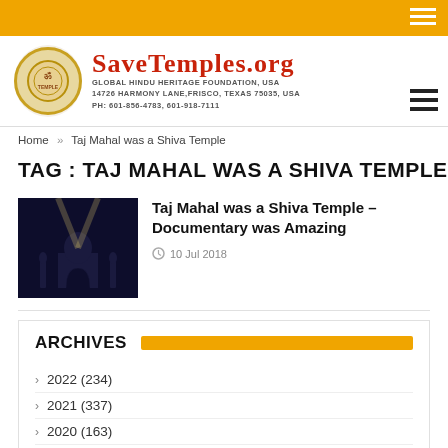SaveTemples.org — Global Hindu Heritage Foundation, USA. 14726 Harmony Lane, Frisco, Texas 75035, USA. Ph: 601-856-4783, 601-918-7111
Home » Taj Mahal was a Shiva Temple
TAG : TAJ MAHAL WAS A SHIVA TEMPLE
[Figure (photo): Dark/nighttime image of the Taj Mahal silhouette with light beams]
Taj Mahal was a Shiva Temple – Documentary was Amazing
10 Jul 2018
ARCHIVES
2022 (234)
2021 (337)
2020 (163)
2019 (31)